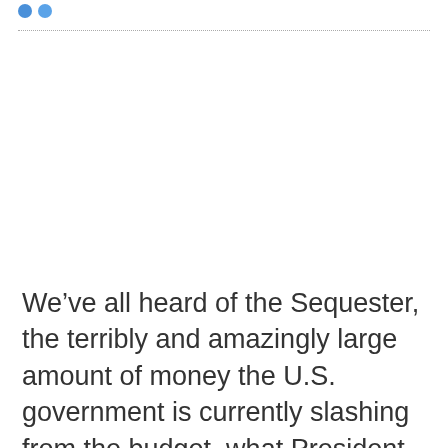[social media share icons]
We’ve all heard of the Sequester, the terribly and amazingly large amount of money the U.S. government is currently slashing from the budget, what President Obama has referred to as taking a “meat-cleaver